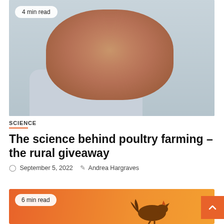[Figure (photo): Close-up portrait photo of a smiling middle-aged man with short brown hair and stubble, wearing a light blue shirt, with a white badge overlay reading '4 min read']
SCIENCE
The science behind poultry farming – the rural giveaway
September 5, 2022   Andrea Hargraves
[Figure (photo): Partial view of an article card with orange gradient background, a bird silhouette, and a badge reading '6 min read']